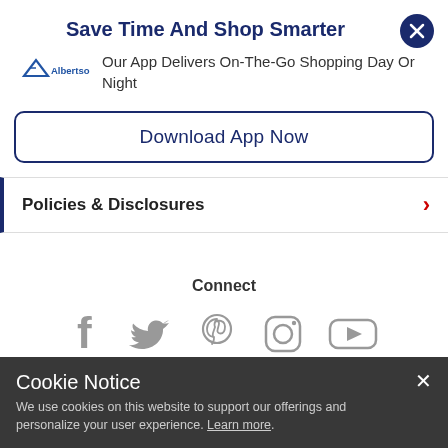Save Time And Shop Smarter
Our App Delivers On-The-Go Shopping Day Or Night
Download App Now
Policies & Disclosures
Connect
[Figure (infographic): Social media icons: Facebook, Twitter, Pinterest, Instagram, YouTube]
Cookie Notice
We use cookies on this website to support our offerings and personalize your user experience. Learn more.